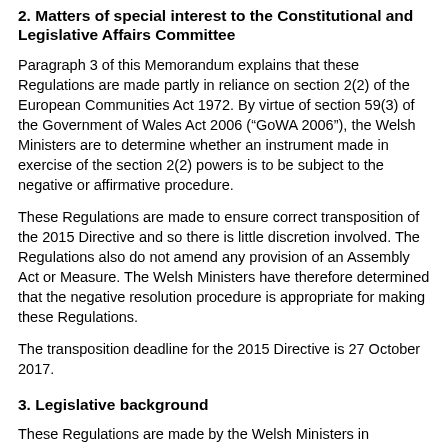2. Matters of special interest to the Constitutional and Legislative Affairs Committee
Paragraph 3 of this Memorandum explains that these Regulations are made partly in reliance on section 2(2) of the European Communities Act 1972. By virtue of section 59(3) of the Government of Wales Act 2006 (“GoWA 2006”), the Welsh Ministers are to determine whether an instrument made in exercise of the section 2(2) powers is to be subject to the negative or affirmative procedure.
These Regulations are made to ensure correct transposition of the 2015 Directive and so there is little discretion involved. The Regulations also do not amend any provision of an Assembly Act or Measure. The Welsh Ministers have therefore determined that the negative resolution procedure is appropriate for making these Regulations.
The transposition deadline for the 2015 Directive is 27 October 2017.
3. Legislative background
These Regulations are made by the Welsh Ministers in